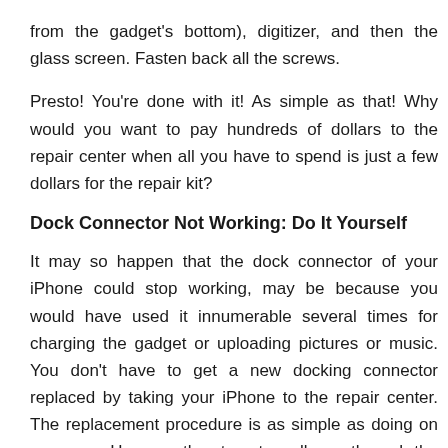from the gadget's bottom), digitizer, and then the glass screen. Fasten back all the screws.
Presto! You're done with it! As simple as that! Why would you want to pay hundreds of dollars to the repair center when all you have to spend is just a few dollars for the repair kit?
Dock Connector Not Working: Do It Yourself
It may so happen that the dock connector of your iPhone could stop working, may be because you would have used it innumerable several times for charging the gadget or uploading pictures or music. You don't have to get a new docking connector replaced by taking your iPhone to the repair center. The replacement procedure is as simple as doing on your own. Here are the steps to walk you through the process.